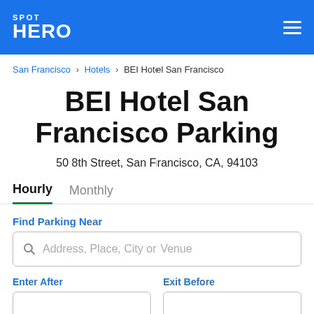SPOT HERO
San Francisco > Hotels > BEI Hotel San Francisco
BEI Hotel San Francisco Parking
50 8th Street, San Francisco, CA, 94103
Hourly   Monthly
Find Parking Near
Address, Place, City or Venue
Enter After
Exit Before